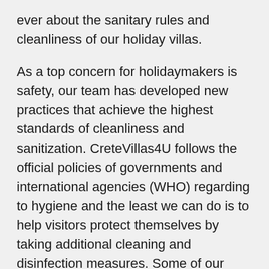ever about the sanitary rules and cleanliness of our holiday villas.
As a top concern for holidaymakers is safety, our team has developed new practices that achieve the highest standards of cleanliness and sanitization. CreteVillas4U follows the official policies of governments and international agencies (WHO) regarding to hygiene and the least we can do is to help visitors protect themselves by taking additional cleaning and disinfection measures. Some of our measures that our properties take are listed below
-At the entrance of each villa there will be a special antiseptic approved by EOF (National Organisation for